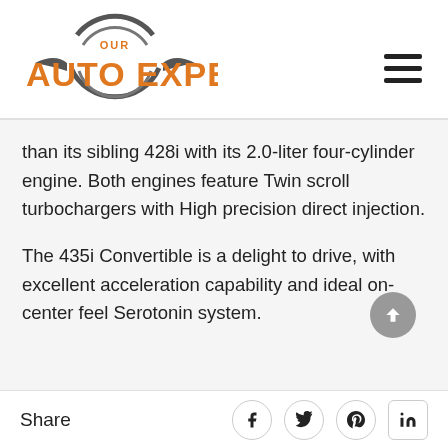[Figure (logo): Our Auto Expert logo with orange text and grey circular emblem]
than its sibling 428i with its 2.0-liter four-cylinder engine. Both engines feature Twin scroll turbochargers with High precision direct injection.
The 435i Convertible is a delight to drive, with excellent acceleration capability and ideal on-center feel Serotonin system.
Share